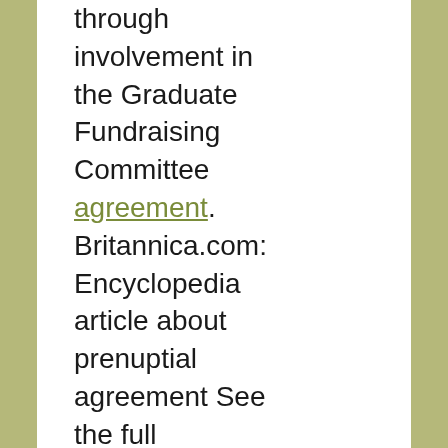through involvement in the Graduate Fundraising Committee agreement. Britannica.com: Encyclopedia article about prenuptial agreement See the full definition for prenuptial agreement in the English Language Learners